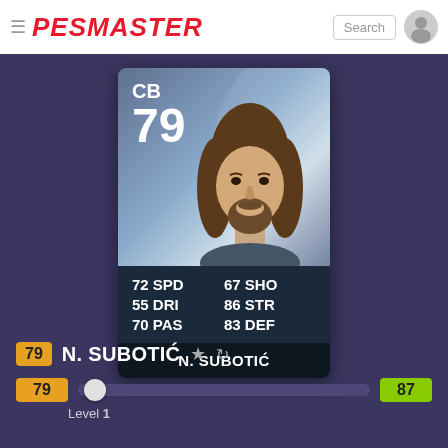PESMASTER
[Figure (illustration): PES Master player card for N. Subotic, CB rated 79, showing stats: 72 SPD, 67 SHO, 55 DRI, 86 STR, 70 PAS, 83 DEF]
79 N. SUBOTIC ★ ↺
79 ... 87 Level 1